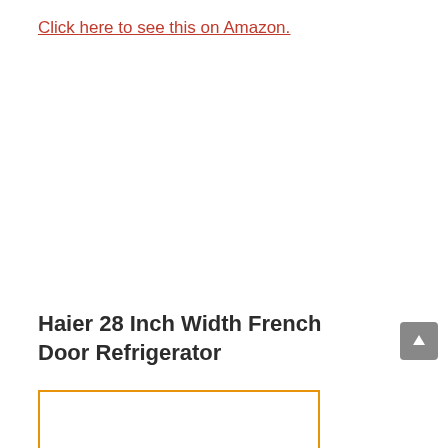Click here to see this on Amazon.
Haier 28 Inch Width French Door Refrigerator
[Figure (photo): Product image of a Haier 28 Inch Width French Door Refrigerator shown inside an orange-bordered box at the bottom of the page.]